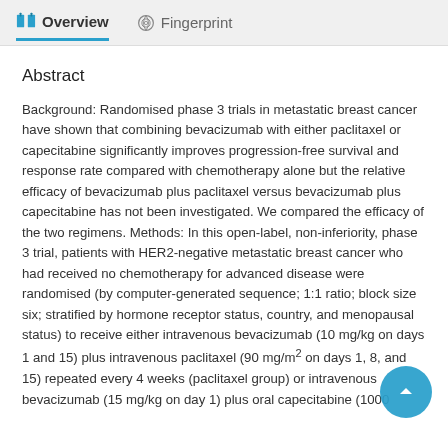Overview   Fingerprint
Abstract
Background: Randomised phase 3 trials in metastatic breast cancer have shown that combining bevacizumab with either paclitaxel or capecitabine significantly improves progression-free survival and response rate compared with chemotherapy alone but the relative efficacy of bevacizumab plus paclitaxel versus bevacizumab plus capecitabine has not been investigated. We compared the efficacy of the two regimens. Methods: In this open-label, non-inferiority, phase 3 trial, patients with HER2-negative metastatic breast cancer who had received no chemotherapy for advanced disease were randomised (by computer-generated sequence; 1:1 ratio; block size six; stratified by hormone receptor status, country, and menopausal status) to receive either intravenous bevacizumab (10 mg/kg on days 1 and 15) plus intravenous paclitaxel (90 mg/m2 on days 1, 8, and 15) repeated every 4 weeks (paclitaxel group) or intravenous bevacizumab (15 mg/kg on day 1) plus oral capecitabine (1000